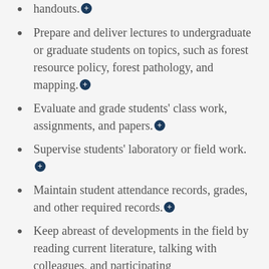handouts.⊕
Prepare and deliver lectures to undergraduate or graduate students on topics, such as forest resource policy, forest pathology, and mapping.⊕
Evaluate and grade students' class work, assignments, and papers.⊕
Supervise students' laboratory or field work.⊕
Maintain student attendance records, grades, and other required records.⊕
Keep abreast of developments in the field by reading current literature, talking with colleagues, and participating